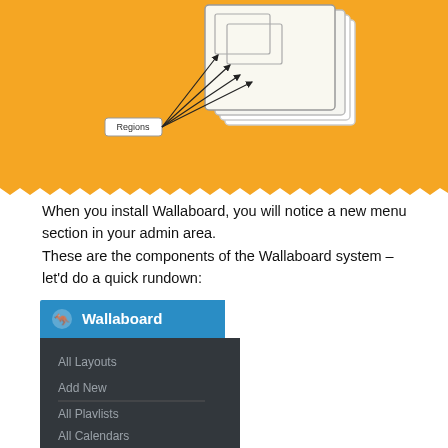[Figure (screenshot): Yellow/orange background diagram showing stacked rectangles with arrows labeled 'Regions' pointing into nested region boxes]
When you install Wallaboard, you will notice a new menu section in your admin area.
These are the components of the Wallaboard system – let'd do a quick rundown:
[Figure (screenshot): WordPress admin sidebar menu screenshot showing Wallaboard section with kangaroo icon header in blue, dark background with menu items: All Layouts, Add New, All Playlists, Add New, All Calendars]